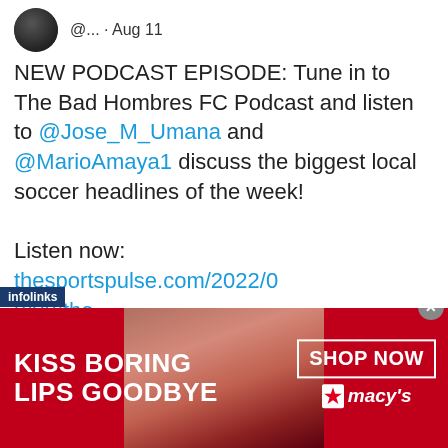@... · Aug 11
NEW PODCAST EPISODE: Tune in to The Bad Hombres FC Podcast and listen to @Jose_M_Umana and @MarioAmaya1 discuss the biggest local soccer headlines of the week!

Listen now:
thesportspulse.com/2022/08/08/the…

#VamosUnited #Letsfly #DCU #MLS #soccer #WhenIRoot #OneSpirit
[Figure (photo): Advertisement banner for Macy's lip product. Red background with a woman's face featuring red lipstick. Text reads 'KISS BORING LIPS GOODBYE' on left, 'SHOP NOW ★ macy's' on right.]